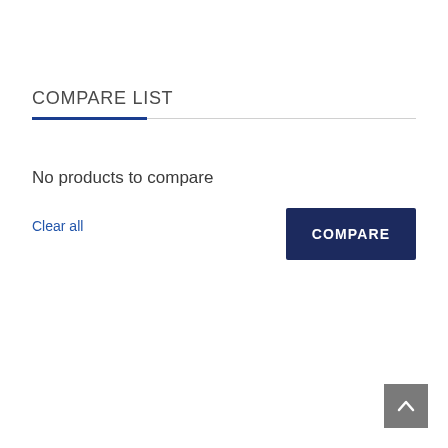COMPARE LIST
No products to compare
Clear all
[Figure (screenshot): COMPARE button — a dark navy rectangular button with white uppercase text 'COMPARE']
[Figure (other): Back to top button — a gray square with a white upward-pointing chevron/arrow icon]